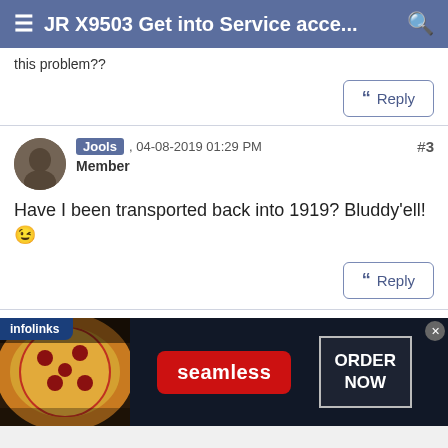≡ JR X9503 Get into Service acce... 🔍
this problem??
Reply
Jools , 04-08-2019 01:29 PM
Member
#3
Have I been transported back into 1919? Bluddy'ell! 😉
Reply
[Figure (screenshot): infolinks advertisement for Seamless food ordering service with pizza image and ORDER NOW button]